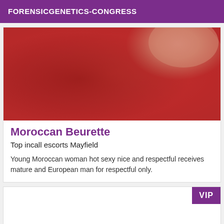FORENSICGENETICS-CONGRESS
[Figure (photo): Close-up photo of a person wearing a red lace garment]
Moroccan Beurette
Top incall escorts Mayfield
Young Moroccan woman hot sexy nice and respectful receives mature and European man for respectful only.
[Figure (other): Card with VIP badge in top right corner]